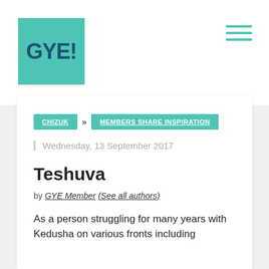[Figure (logo): GYE! logo — teal/turquoise square with dark blue bold text 'GYE!']
[Figure (illustration): Hamburger menu icon — three teal horizontal lines in top-right corner]
CHIZUK » MEMBERS SHARE INSPIRATION
Wednesday, 13 September 2017
Teshuva
by GYE Member (See all authors)
As a person struggling for many years with Kedusha on various fronts including